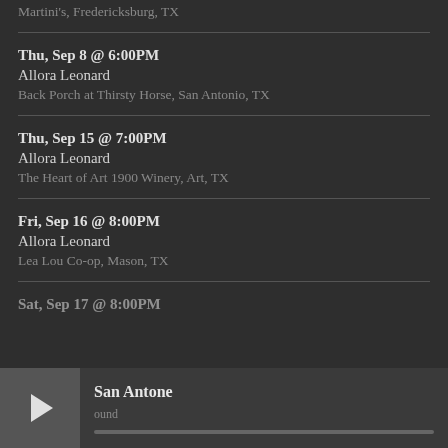Martini's, Fredericksburg, TX
Thu, Sep 8 @ 6:00PM
Allora Leonard
Back Porch at Thirsty Horse, San Antonio, TX
Thu, Sep 15 @ 7:00PM
Allora Leonard
The Heart of Art 1900 Winery, Art, TX
Fri, Sep 16 @ 8:00PM
Allora Leonard
Lea Lou Co-op, Mason, TX
Sat, Sep 17 @ 8:00PM
San Antone